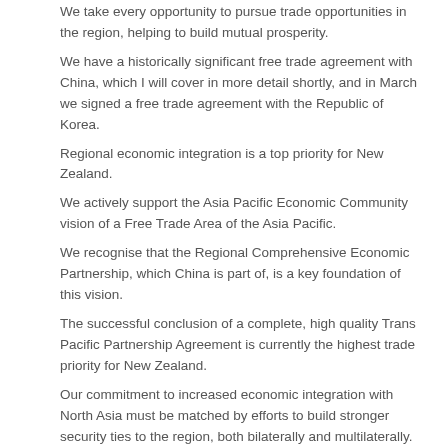We take every opportunity to pursue trade opportunities in the region, helping to build mutual prosperity.
We have a historically significant free trade agreement with China, which I will cover in more detail shortly, and in March we signed a free trade agreement with the Republic of Korea.
Regional economic integration is a top priority for New Zealand.
We actively support the Asia Pacific Economic Community vision of a Free Trade Area of the Asia Pacific.
We recognise that the Regional Comprehensive Economic Partnership, which China is part of, is a key foundation of this vision.
The successful conclusion of a complete, high quality Trans Pacific Partnership Agreement is currently the highest trade priority for New Zealand.
Our commitment to increased economic integration with North Asia must be matched by efforts to build stronger security ties to the region, both bilaterally and multilaterally.